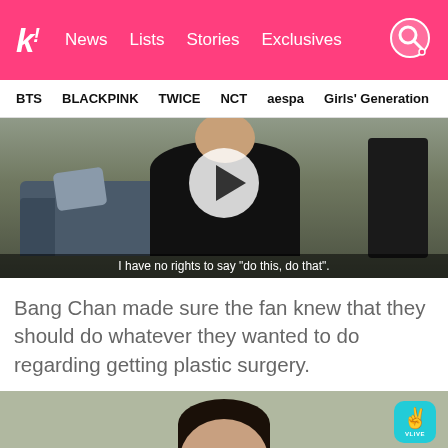k! News  Lists  Stories  Exclusives
BTS  BLACKPINK  TWICE  NCT  aespa  Girls' Generation
[Figure (screenshot): Video thumbnail showing a person in black clothing sitting on a sofa with a play button overlay. Subtitle reads: I have no rights to say "do this, do that".]
Bang Chan made sure the fan knew that they should do whatever they wanted to do regarding getting plastic surgery.
[Figure (screenshot): Video thumbnail showing a person's head/face from a V LIVE stream, with a V LIVE badge in the top right corner.]